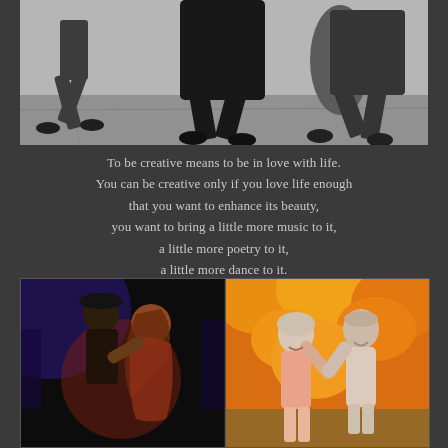[Figure (photo): Black and white vintage photograph of people dancing outdoors on a sidewalk or street, showing legs and lower bodies in mid-dance moves]
To be creative means to be in love with life.
You can be creative only if you love life enough
that you want to enhance its beauty,
you want to bring a little more music to it,
a little more poetry to it,
a little more dance to it.
~Osho
[Figure (photo): Color photograph of two people dancing passionately indoors with dramatic stage lighting in blue and red tones, man in hat and woman with flowing hair]
[Figure (photo): Color photograph of an elderly couple dancing outdoors in autumn with orange and yellow foliage in the background]